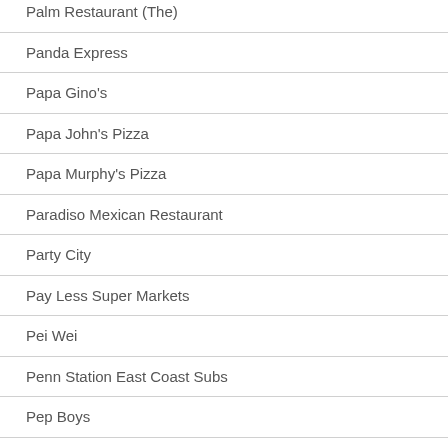Palm Restaurant (The)
Panda Express
Papa Gino's
Papa John's Pizza
Papa Murphy's Pizza
Paradiso Mexican Restaurant
Party City
Pay Less Super Markets
Pei Wei
Penn Station East Coast Subs
Pep Boys
Perkins Restaurant & PIes
Petco
Peter Piper Pizza